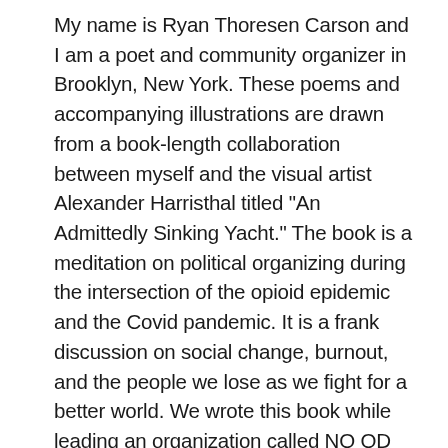My name is Ryan Thoresen Carson and I am a poet and community organizer in Brooklyn, New York. These poems and accompanying illustrations are drawn from a book-length collaboration between myself and the visual artist Alexander Harristhal titled "An Admittedly Sinking Yacht." The book is a meditation on political organizing during the intersection of the opioid epidemic and the Covid pandemic. It is a frank discussion on social change, burnout, and the people we lose as we fight for a better world. We wrote this book while leading an organization called NO OD NY, which worked to establish the nation's first overdose prevention centers in New York City.